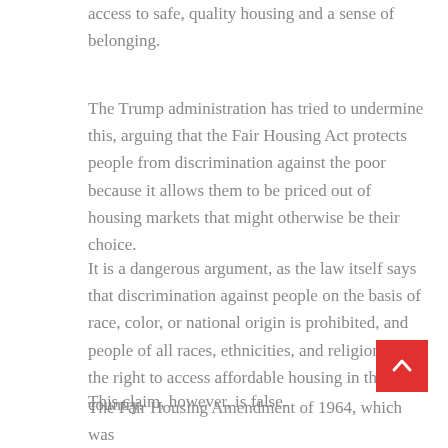access to safe, quality housing and a sense of belonging.
The Trump administration has tried to undermine this, arguing that the Fair Housing Act protects people from discrimination against the poor because it allows them to be priced out of housing markets that might otherwise be their choice.
It is a dangerous argument, as the law itself says that discrimination against people on the basis of race, color, or national origin is prohibited, and people of all races, ethnicities, and religions have the right to access affordable housing in the country.
This claim, however, is false.
The Fair Housing Amendment of 1964, which was